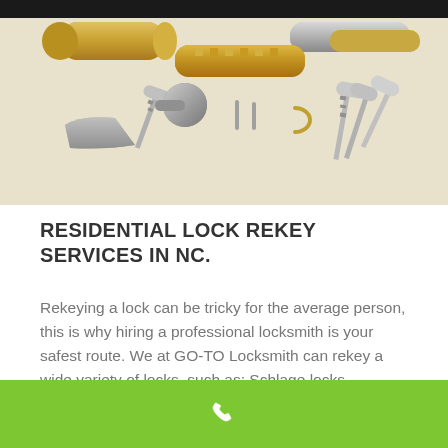[Figure (photo): Disassembled lock components including brass cylinders, keys, pins, and other lock mechanisms laid out on a white surface]
RESIDENTIAL LOCK REKEY SERVICES IN NC.
Rekeying a lock can be tricky for the average person, this is why hiring a professional locksmith is your safest route. We at GO-TO Locksmith can rekey a wide variety of locks, such as; Schlage locks, doorknobs, deadbolts, and high-security locks. Contact us now to hear about our exclusive lock rekey deals!
[Figure (other): Green bar at bottom with white phone/call icon]